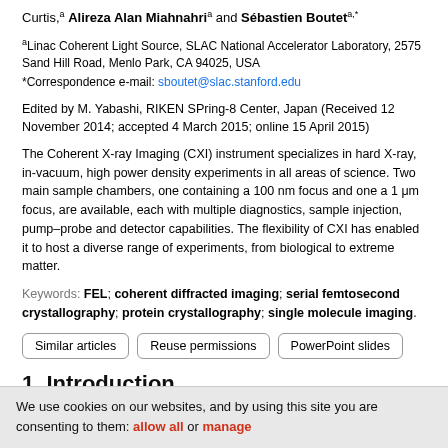Curtis,a Alireza Alan Miahnahria and Sébastien Bouteta,*
aLinac Coherent Light Source, SLAC National Accelerator Laboratory, 2575 Sand Hill Road, Menlo Park, CA 94025, USA
*Correspondence e-mail: sboutet@slac.stanford.edu
Edited by M. Yabashi, RIKEN SPring-8 Center, Japan (Received 12 November 2014; accepted 4 March 2015; online 15 April 2015)
The Coherent X-ray Imaging (CXI) instrument specializes in hard X-ray, in-vacuum, high power density experiments in all areas of science. Two main sample chambers, one containing a 100 nm focus and one a 1 μm focus, are available, each with multiple diagnostics, sample injection, pump–probe and detector capabilities. The flexibility of CXI has enabled it to host a diverse range of experiments, from biological to extreme matter.
Keywords: FEL; coherent diffracted imaging; serial femtosecond crystallography; protein crystallography; single molecule imaging.
Similar articles | Reuse permissions | PowerPoint slides
1. Introduction
The Coherent X-ray Imaging (CXI) instrument was constructed to pursue
We use cookies on our websites, and by using this site you are consenting to them: allow all or manage